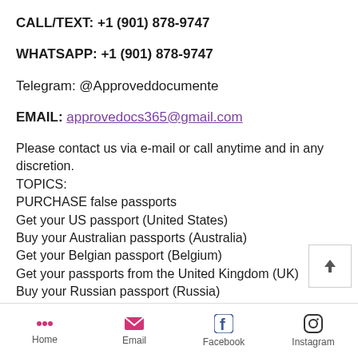CALL/TEXT: +1 (901) 878-9747
WHATSAPP: +1 (901) 878-9747
Telegram: @Approveddocumente
EMAIL: approvedocs365@gmail.com
Please contact us via e-mail or call anytime and in any discretion.
TOPICS:
PURCHASE false passports
Get your US passport (United States)
Buy your Australian passports (Australia)
Get your Belgian passport (Belgium)
Get your passports from the United Kingdom (UK)
Buy your Russian passport (Russia)
Get your passport from...
Home   Email   Facebook   Instagram